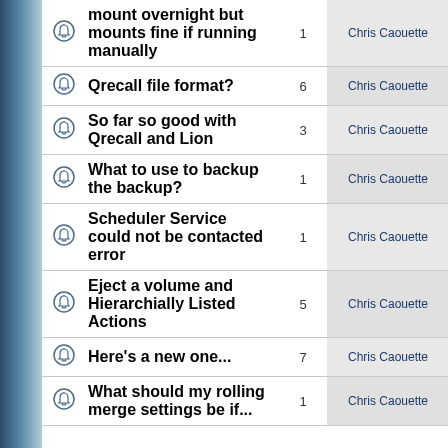|  | Topic | Replies | Author | Views |
| --- | --- | --- | --- | --- |
| [icon] | mount overnight but mounts fine if running manually | 1 | Chris Caouette | 14369 |
| [icon] | Qrecall file format? | 6 | Chris Caouette | 4516 |
| [icon] | So far so good with Qrecall and Lion | 3 | Chris Caouette | 4720 |
| [icon] | What to use to backup the backup? | 1 | Chris Caouette | 3078 |
| [icon] | Scheduler Service could not be contacted error | 1 | Chris Caouette | 2695 |
| [icon] | Eject a volume and Hierarchially Listed Actions | 5 | Chris Caouette | 3799 |
| [icon] | Here's a new one... | 7 | Chris Caouette | 4539 |
| [icon] | What should my rolling merge settings be if... | 1 | Chris Caouette | 2815 |